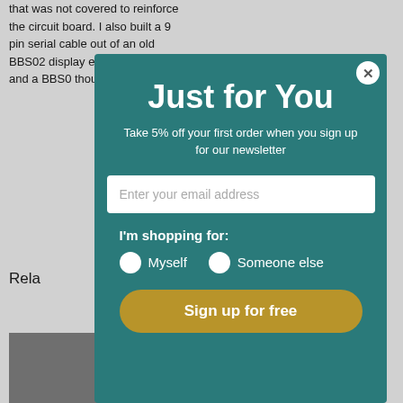that was not covered to reinforce the circuit board. I also built a 9 pin serial cable out of an old BBS02 display extension cable and a BBS0 though buyin that d
Rela
[Figure (photo): Partial photo visible in lower left corner]
[Figure (screenshot): Modal popup overlay with teal background. Title: Just for You. Subtitle: Take 5% off your first order when you sign up for our newsletter. Email input field. I'm shopping for: Myself / Someone else radio buttons. Sign up for free button.]